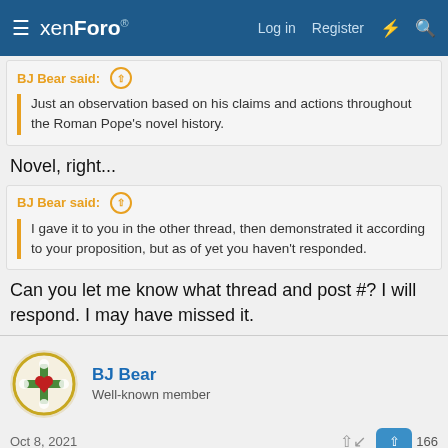xenForo — Log in | Register
BJ Bear said: ↑
Just an observation based on his claims and actions throughout the Roman Pope's novel history.
Novel, right...
BJ Bear said: ↑
I gave it to you in the other thread, then demonstrated it according to your proposition, but as of yet you haven't responded.
Can you let me know what thread and post #? I will respond. I may have missed it.
BJ Bear
Well-known member
Oct 8, 2021
Anselm01 said: ↑